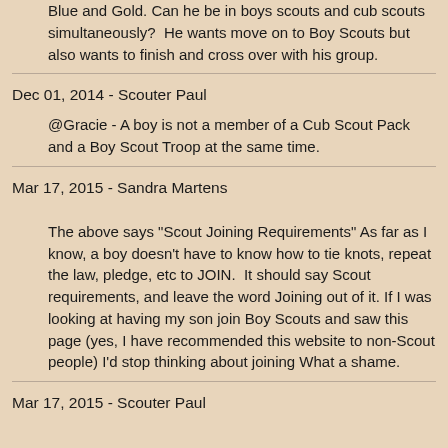Blue and Gold. Can he be in boys scouts and cub scouts simultaneously?  He wants move on to Boy Scouts but also wants to finish and cross over with his group.
Dec 01, 2014 - Scouter Paul
@Gracie - A boy is not a member of a Cub Scout Pack and a Boy Scout Troop at the same time.
Mar 17, 2015 - Sandra Martens
The above says "Scout Joining Requirements" As far as I know, a boy doesn't have to know how to tie knots, repeat the law, pledge, etc to JOIN.  It should say Scout requirements, and leave the word Joining out of it. If I was looking at having my son join Boy Scouts and saw this page (yes, I have recommended this website to non-Scout people) I'd stop thinking about joining What a shame.
Mar 17, 2015 - Scouter Paul